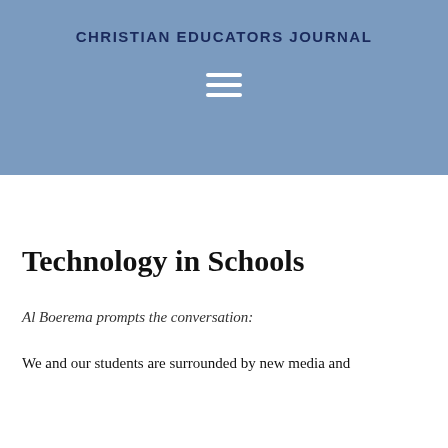CHRISTIAN EDUCATORS JOURNAL
[Figure (other): Hamburger menu icon with three white horizontal bars on blue background]
Technology in Schools
Al Boerema prompts the conversation:
We and our students are surrounded by new media and